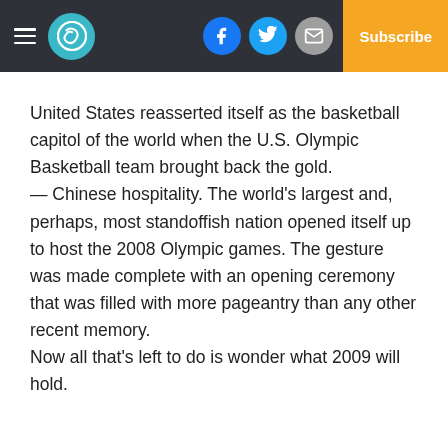Subscribe
United States reasserted itself as the basketball capitol of the world when the U.S. Olympic Basketball team brought back the gold.
— Chinese hospitality. The world's largest and, perhaps, most standoffish nation opened itself up to host the 2008 Olympic games. The gesture was made complete with an opening ceremony that was filled with more pageantry than any other recent memory.
Now all that's left to do is wonder what 2009 will hold.